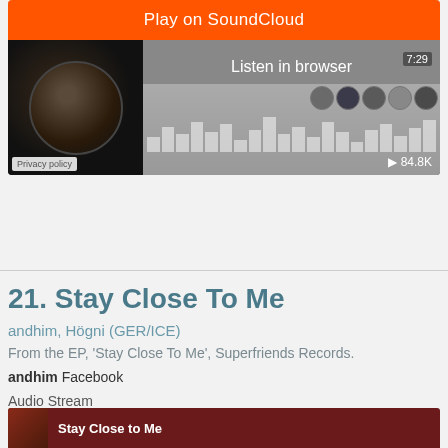[Figure (screenshot): SoundCloud embedded player widget showing 'Play on SoundCloud' orange button, 'Listen in browser' text, album artwork, waveform, time 7:29, play count 84.8K, and privacy policy link]
21. Stay Close To Me
andhim, Högni (GER/ICE)
From the EP, 'Stay Close To Me', Superfriends Records.
andhim Facebook
Audio Stream
[Figure (screenshot): Bottom audio stream widget showing dark red background with album art and 'Stay Close to Me' title text in white]